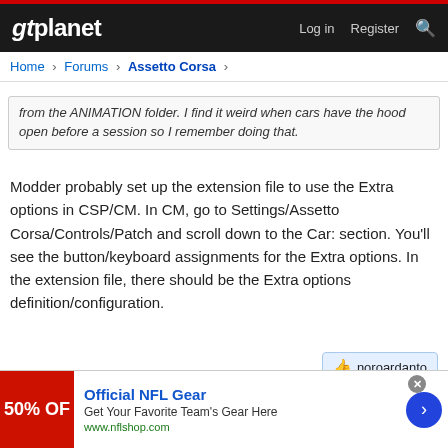gtplanet | Log in  Register
Home > Forums > Assetto Corsa
from the ANIMATION folder. I find it weird when cars have the hood open before a session so I remember doing that.
Modder probably set up the extension file to use the Extra options in CSP/CM. In CM, go to Settings/Assetto Corsa/Controls/Patch and scroll down to the Car: section. You'll see the button/keyboard assignments for the Extra options. In the extension file, there should be the Extra options definition/configuration.
noroardanto
Reply
Paulo Ribeiro
Official NFL Gear
Get Your Favorite Team's Gear Here
www.nflshop.com